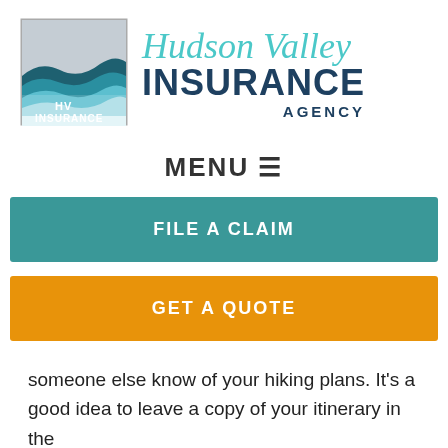[Figure (logo): Hudson Valley Insurance Agency logo with mountain/wave SVG emblem and stylized text]
MENU ☰
FILE A CLAIM
GET A QUOTE
someone else know of your hiking plans. It's a good idea to leave a copy of your itinerary in the